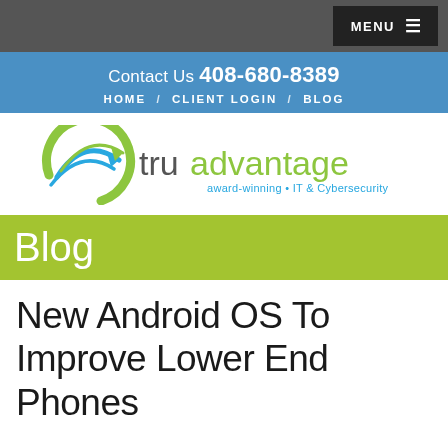MENU
Contact Us 408-680-8389
HOME / CLIENT LOGIN / BLOG
[Figure (logo): TruAdvantage logo — green circular arrow icon with blue swoosh arrows, text 'truadvantage' and tagline 'award-winning • IT & Cybersecurity']
Blog
New Android OS To Improve Lower End Phones